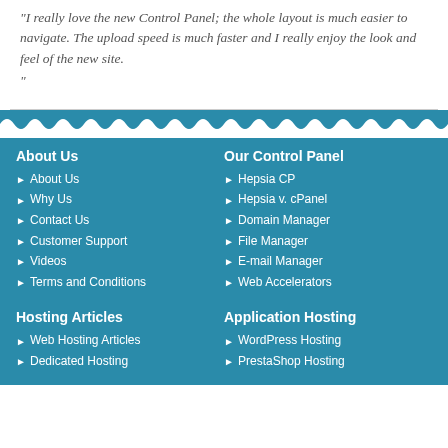"I really love the new Control Panel; the whole layout is much easier to navigate. The upload speed is much faster and I really enjoy the look and feel of the new site. "
About Us
About Us
Why Us
Contact Us
Customer Support
Videos
Terms and Conditions
Our Control Panel
Hepsia CP
Hepsia v. cPanel
Domain Manager
File Manager
E-mail Manager
Web Accelerators
Hosting Articles
Web Hosting Articles
Dedicated Hosting
Application Hosting
WordPress Hosting
PrestaShop Hosting